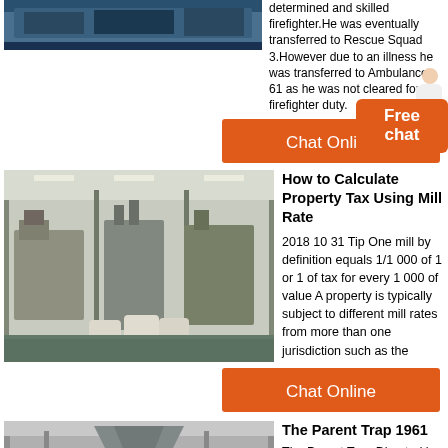[Figure (photo): Industrial blue machinery/equipment photo at top left]
determined and skilled firefighter.He was eventually transferred to Rescue Squad 3.However due to an illness he was transferred to Ambulance 61 as he was not cleared for firefighter duty.
[Figure (photo): Industrial factory interior with metal processing equipment, silos, and green floor]
How to Calculate Property Tax Using Mill Rate
2018 10 31 Tip One mill by definition equals 1/1 000 of 1 or 1 of tax for every 1 000 of value A property is typically subject to different mill rates from more than one jurisdiction such as the
[Figure (infographic): Chat Online button (orange)]
[Figure (photo): Industrial funnel/cone equipment photo at bottom]
The Parent Trap 1961
The Parent Trap Directed by